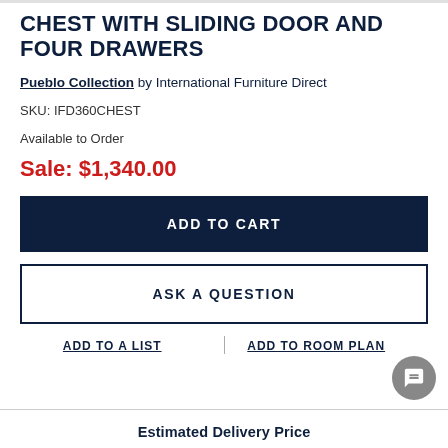CHEST WITH SLIDING DOOR AND FOUR DRAWERS
Pueblo Collection by International Furniture Direct
SKU: IFD360CHEST
Available to Order
Sale: $1,340.00
ADD TO CART
ASK A QUESTION
ADD TO A LIST
ADD TO ROOM PLAN
Estimated Delivery Price